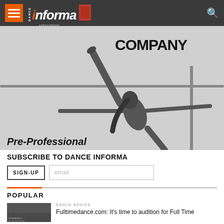Dance Informa — navigation header with hamburger menu, logo, magazine cover image, and search icon
[Figure (photo): Hero banner image of a female dancer doing a high kick/split leap pose with arms extended, wearing black athletic wear. Text overlay shows 'COMPANY' in large bold letters top right and 'Pre-Professional' in bold italic bottom left.]
SUBSCRIBE TO DANCE INFORMA
SIGN-UP   email
POPULAR
DANCE ADVICE
Fulltimedance.com: It's time to audition for Full Time